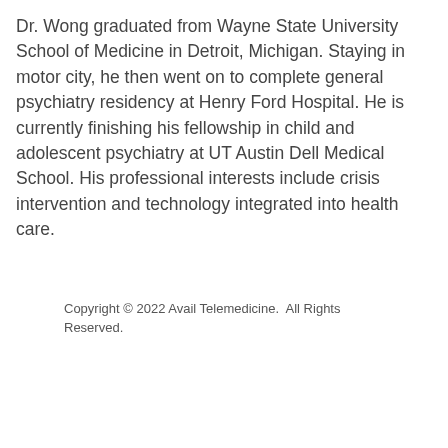Dr. Wong graduated from Wayne State University School of Medicine in Detroit, Michigan. Staying in motor city, he then went on to complete general psychiatry residency at Henry Ford Hospital. He is currently finishing his fellowship in child and adolescent psychiatry at UT Austin Dell Medical School. His professional interests include crisis intervention and technology integrated into health care.
Copyright © 2022 Avail Telemedicine.  All Rights Reserved.